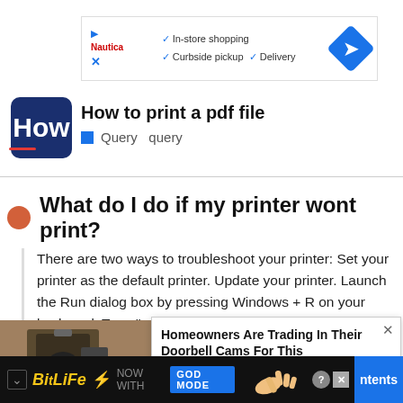[Figure (screenshot): Advertisement banner showing In-store shopping, Curbside pickup, Delivery with a blue navigation arrow icon]
[Figure (logo): How logo - dark blue rounded rectangle with white H letter and red underline]
How to print a pdf file
Query  query
What do I do if my printer wont print?
There are two ways to troubleshoot your printer: Set your printer as the default printer. Update your printer. Launch the Run dialog box by pressing Windows + R on your keyboard. Type "control" (without quotes) and press Enter.
[Figure (photo): Photo of a security camera mounted on a wall]
Homeowners Are Trading In Their Doorbell Cams For This
Keilini | Sponsored
[Figure (advertisement): BitLife - Now with GOD MODE bottom banner advertisement]